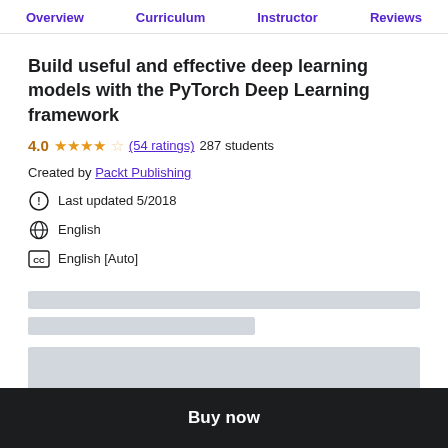Overview | Curriculum | Instructor | Reviews
Build useful and effective deep learning models with the PyTorch Deep Learning framework
4.0 ★★★★☆ (54 ratings) 287 students
Created by Packt Publishing
Last updated 5/2018
English
English [Auto]
[Figure (other): Loading placeholder bars (gray rectangles representing loading content)]
Buy now